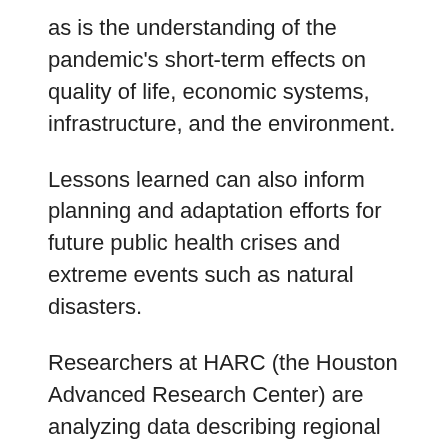as is the understanding of the pandemic's short-term effects on quality of life, economic systems, infrastructure, and the environment.
Lessons learned can also inform planning and adaptation efforts for future public health crises and extreme events such as natural disasters.
Researchers at HARC (the Houston Advanced Research Center) are analyzing data describing regional mobility, air quality, and energy demand to determine the extent of regional and statewide changes due to COVID-19 and the resulting stay-at-home orders.
Focus Area 1: